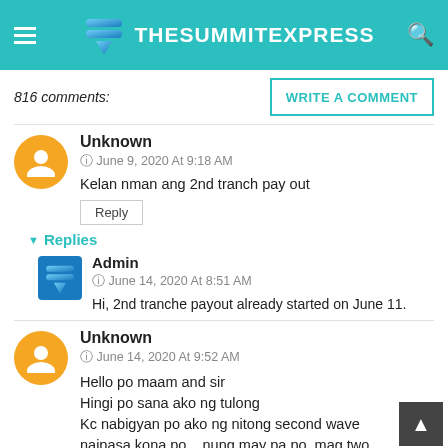TheSummitExpress
816 comments:
Unknown
June 9, 2020 At 9:18 AM
Kelan nman ang 2nd tranch pay out
Replies
Admin
June 14, 2020 At 8:51 AM
Hi, 2nd tranche payout already started on June 11.
Unknown
June 14, 2020 At 9:52 AM
Hello po maam and sir
Hingi po sana ako ng tulong
Kc nabigyan po ako ng nitong second wave
naipasa kona po ...nung may pa po..mag two months nana wala nang balita..isa po akong